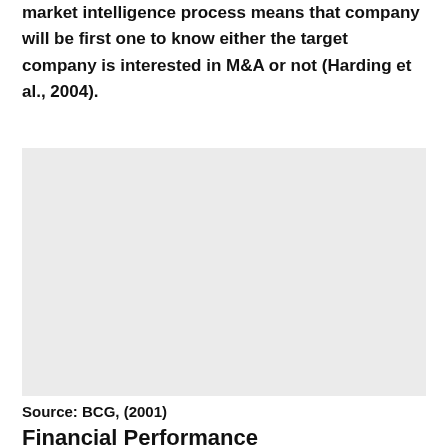market intelligence process means that company will be first one to know either the target company is interested in M&A or not (Harding et al., 2004).
[Figure (other): A blank/placeholder figure region with light grey background, sourced from BCG (2001).]
Source: BCG, (2001)
Financial Performance
Asset's financial performance is also under